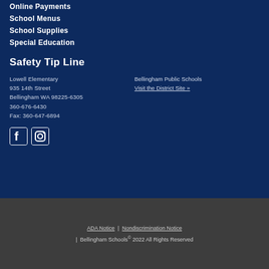Online Payments
School Menus
School Supplies
Special Education
Safety Tip Line
Lowell Elementary
935 14th Street
Bellingham WA 98225-6305
360-676-6430
Fax: 360-647-6894
Bellingham Public Schools
Visit the District Site »
[Figure (illustration): Facebook and Instagram social media icons in white]
ADA Notice | Nondiscrimination Notice | Bellingham Schools© 2022 All Rights Reserved